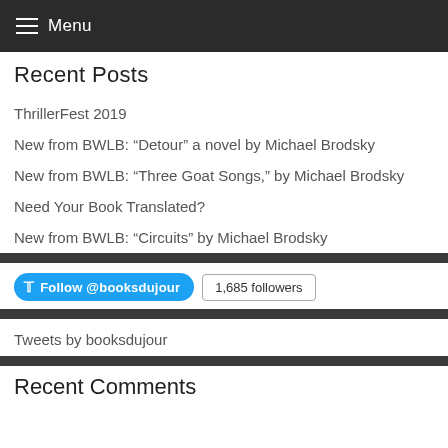≡ Menu
Recent Posts
ThrillerFest 2019
New from BWLB: “Detour” a novel by Michael Brodsky
New from BWLB: “Three Goat Songs,” by Michael Brodsky
Need Your Book Translated?
New from BWLB: “Circuits” by Michael Brodsky
Follow @booksdujour  1,685 followers
Tweets by booksdujour
Recent Comments